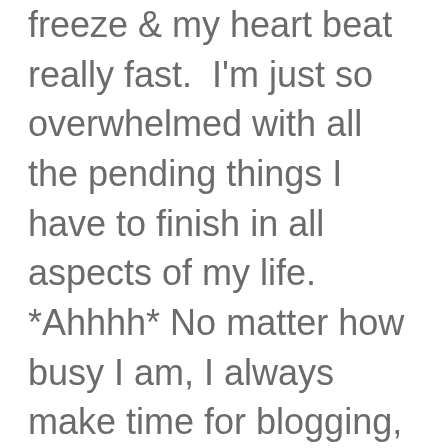freeze & my heart beat really fast. I'm just so overwhelmed with all the pending things I have to finish in all aspects of my life. *Ahhhh* No matter how busy I am, I always make time for blogging, Instagram & working out. But lately, these three also had to be pushed aside to give way to other things. *Woops!* I'm so guilty of making time for myself when all the other deadlines are starting to soar. Well...